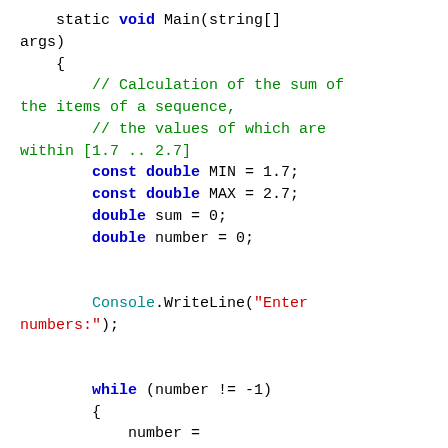Code snippet showing C# static void Main with sum calculation logic using while loop, Console.WriteLine, and Double.Parse